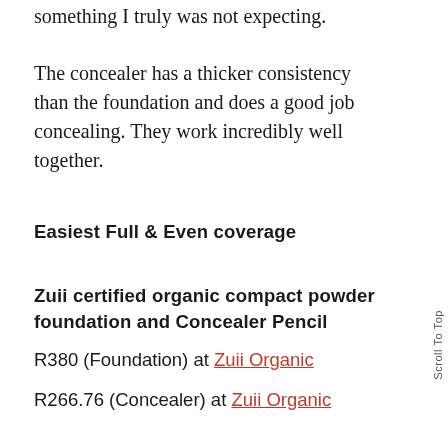something I truly was not expecting.
The concealer has a thicker consistency than the foundation and does a good job concealing. They work incredibly well together.
Easiest Full & Even coverage
Zuii certified organic compact powder foundation and Concealer Pencil
R380 (Foundation) at Zuii Organic
R266.76 (Concealer) at Zuii Organic
Scroll To Top